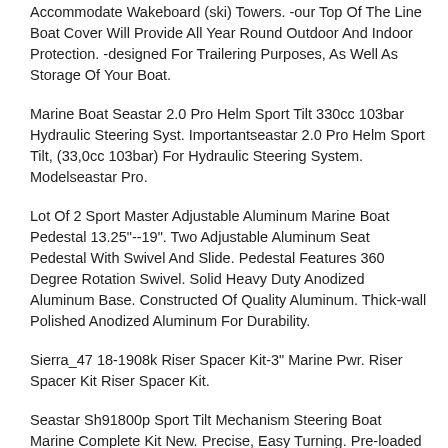Accommodate Wakeboard (ski) Towers. -our Top Of The Line Boat Cover Will Provide All Year Round Outdoor And Indoor Protection. -designed For Trailering Purposes, As Well As Storage Of Your Boat.
Marine Boat Seastar 2.0 Pro Helm Sport Tilt 330cc 103bar Hydraulic Steering Syst. Importantseastar 2.0 Pro Helm Sport Tilt, (33,0cc 103bar) For Hydraulic Steering System. Modelseastar Pro.
Lot Of 2 Sport Master Adjustable Aluminum Marine Boat Pedestal 13.25"--19". Two Adjustable Aluminum Seat Pedestal With Swivel And Slide. Pedestal Features 360 Degree Rotation Swivel. Solid Heavy Duty Anodized Aluminum Base. Constructed Of Quality Aluminum. Thick-wall Polished Anodized Aluminum For Durability.
Sierra_47 18-1908k Riser Spacer Kit-3" Marine Pwr. Riser Spacer Kit Riser Spacer Kit.
Seastar Sh91800p Sport Tilt Mechanism Steering Boat Marine Complete Kit New. Precise, Easy Turning. Pre-loaded Dual Taper Bearings Ensures Minimal Free Play At The Wheel.